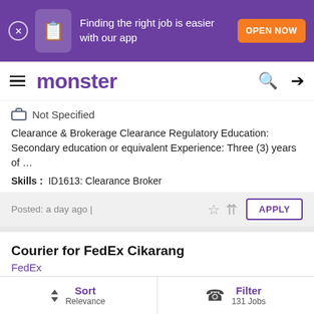Finding the right job is easier with our app | OPEN NOW
monster
Not Specified
Clearance & Brokerage Clearance Regulatory Education: Secondary education or equivalent Experience: Three (3) years of …
Skills : ID1613: Clearance Broker
Posted: a day ago |
Courier for FedEx Cikarang
FedEx
Hong Kong , Bekasi
Not Specified
Sort Relevance | Filter 131 Jobs